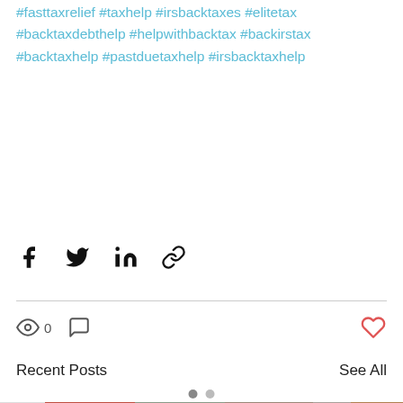#fasttaxrelief #taxhelp #irsbacktaxes #elitetax #backtaxdebthelp #helpwithbacktax #backirstax #backtaxhelp #pastduetaxhelp #irsbacktaxhelp
[Figure (infographic): Social media share buttons: Facebook, Twitter, LinkedIn, and link/chain icon]
[Figure (infographic): Post stats bar with eye/views icon showing 0 views, comment icon, and a red heart/like button on the right]
Recent Posts
See All
[Figure (photo): Photo of protest march with signs reading 'Pick on someone in your own tax bracket' and 'We're marching for a Aust...' — crowd scene at a political demonstration]